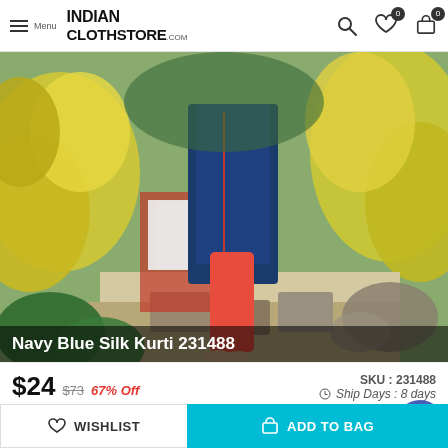INDIAN CLOTHSTORE .com | Menu
[Figure (photo): Woman wearing a Navy Blue Silk Kurti with red leggings, standing near steps with yellow and green foliage in the background.]
Navy Blue Silk Kurti 231488
$24  $73  67% Off  SKU : 231488  Ship Days : 8 days
*SHIPPING: $15 Unlimited Products/Free Over $1
Mega Sale
Flat 50% OFF on Designer Ethnic Wear
WISHLIST  ADD TO BAG